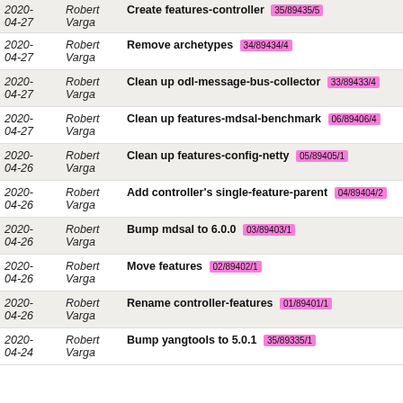| Date | Author | Message |
| --- | --- | --- |
| 2020-04-27 | Robert Varga | Create features-controller 35/89435/5 |
| 2020-04-27 | Robert Varga | Remove archetypes 34/89434/4 |
| 2020-04-27 | Robert Varga | Clean up odl-message-bus-collector 33/89433/4 |
| 2020-04-27 | Robert Varga | Clean up features-mdsal-benchmark 06/89406/4 |
| 2020-04-26 | Robert Varga | Clean up features-config-netty 05/89405/1 |
| 2020-04-26 | Robert Varga | Add controller's single-feature-parent 04/89404/2 |
| 2020-04-26 | Robert Varga | Bump mdsal to 6.0.0 03/89403/1 |
| 2020-04-26 | Robert Varga | Move features 02/89402/1 |
| 2020-04-26 | Robert Varga | Rename controller-features 01/89401/1 |
| 2020-04-24 | Robert Varga | Bump yangtools to 5.0.1 35/89335/1 |